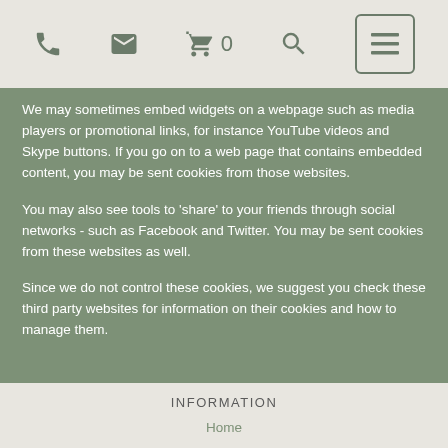Phone | Email | Cart 0 | Search | Menu
We may sometimes embed widgets on a webpage such as media players or promotional links, for instance YouTube videos and Skype buttons. If you go on to a web page that contains embedded content, you may be sent cookies from those websites.
You may also see tools to 'share' to your friends through social networks - such as Facebook and Twitter. You may be sent cookies from these websites as well.
Since we do not control these cookies, we suggest you check these third party websites for information on their cookies and how to manage them.
INFORMATION
Home